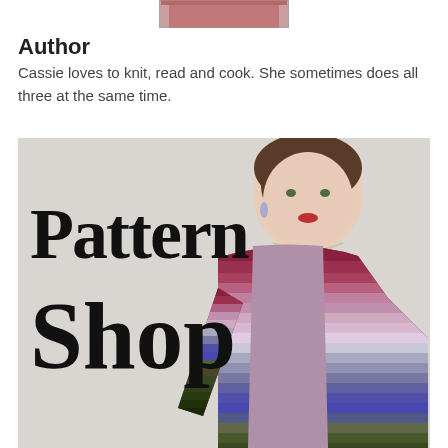[Figure (photo): Partial photo of a person wearing a pink/salmon colored top, only the shoulder/chest area visible, cropped at top of page]
Author
Cassie loves to knit, read and cook.  She sometimes does all three at the same time.
[Figure (photo): Advertisement image for a Pattern Shop showing a woman with short dark hair wearing a multicolored striped knitted cardigan with gradient colors from burgundy/red at top through purple, lavender, grey, blue, and olive green. Large bold text on left side reads 'Pattern Shop' in serif font.]